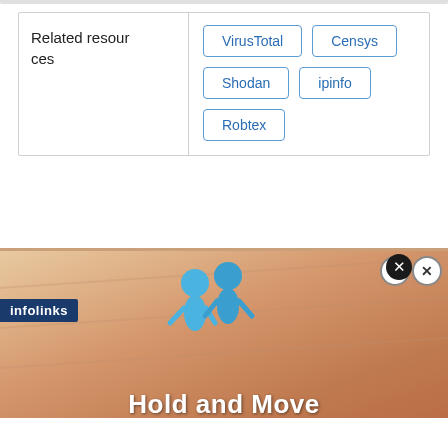| Related resources |  |
| --- | --- |
|  | VirusTotal | Censys | Shodan | ipinfo | Robtex |
NOTICE: We have updated our privacy terms and
[Figure (screenshot): Advertisement banner showing blue figures and 'Hold and Move' text on a wooden background, with infolinks bar and close buttons]